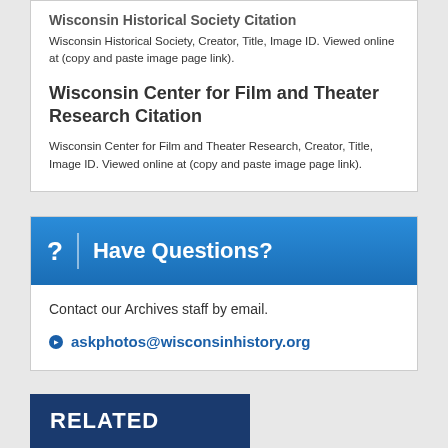Wisconsin Historical Society Citation
Wisconsin Historical Society, Creator, Title, Image ID. Viewed online at (copy and paste image page link).
Wisconsin Center for Film and Theater Research Citation
Wisconsin Center for Film and Theater Research, Creator, Title, Image ID. Viewed online at (copy and paste image page link).
Have Questions?
Contact our Archives staff by email.
askphotos@wisconsinhistory.org
RELATED